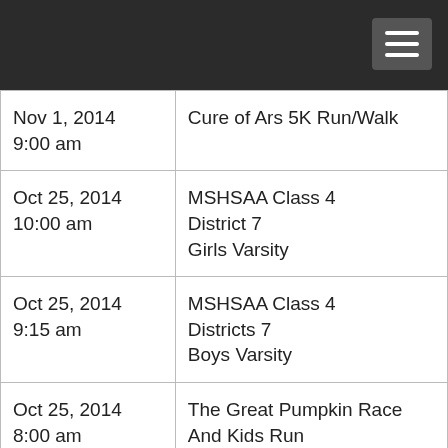| Nov 1, 2014
9:00 am | Cure of Ars 5K Run/Walk |
| Oct 25, 2014
10:00 am | MSHSAA Class 4
District 7
Girls Varsity |
| Oct 25, 2014
9:15 am | MSHSAA Class 4
Districts 7
Boys Varsity |
| Oct 25, 2014
8:00 am | The Great Pumpkin Race
And Kids Run |
| Oct 25, 2014 | Monster Dash 5K |